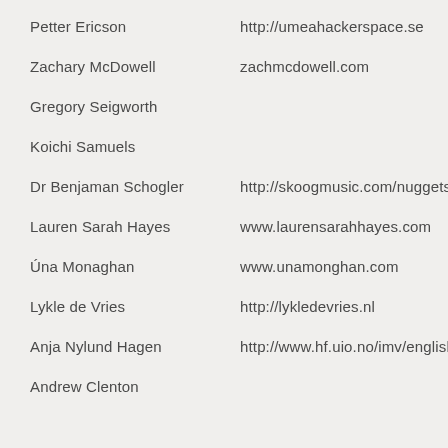Petter Ericson	http://umeahackerspace.se
Zachary McDowell	zachmcdowell.com
Gregory Seigworth
Koichi Samuels
Dr Benjaman Schogler	http://skoogmusic.com/nuggets/
Lauren Sarah Hayes	www.laurensarahhayes.com
Úna Monaghan	www.unamonghan.com
Lykle de Vries	http://lykledevries.nl
Anja Nylund Hagen	http://www.hf.uio.no/imv/english/
Andrew Clenton	...